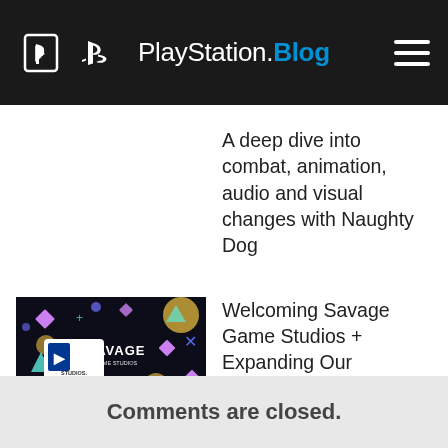PlayStation.Blog
A deep dive into combat, animation, audio and visual changes with Naughty Dog
[Figure (illustration): Savage Game Studios welcome to the family banner image with PlayStation Studios logo on dark background with colorful geometric shapes]
Welcoming Savage Game Studios + Expanding Our Community
Comments are closed.